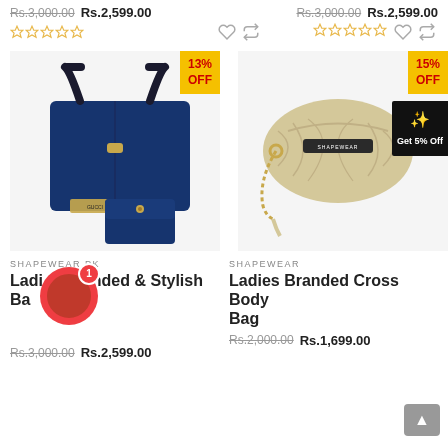Rs.3,000.00 (strikethrough) Rs.2,599.00 — Rs.3,000.00 (strikethrough) Rs.2,599.00
[Figure (screenshot): Star ratings (empty stars) with heart and refresh icons — two product cards top row]
[Figure (photo): Navy blue branded ladies handbag set with small wallet pouch, 13% OFF badge]
[Figure (photo): Cream/beige ladies branded cross body bag with gold chain strap, 15% OFF badge]
SHAPEWEAR.PK
Ladies Branded & Stylish Bag
Rs.3,000.00  Rs.2,599.00
SHAPEWEAR
Ladies Branded Cross Body Bag
Rs.2,000.00  Rs.1,699.00